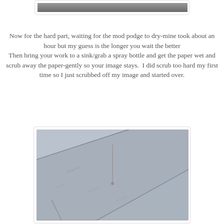[Figure (photo): Partial view of a photo at the top of the page, showing a dark/grey surface, partially cropped]
Now for the hard part, waiting for the mod podge to dry-mine took about an hour but my guess is the longer you wait the better
Then bring your work to a sink/grab a spray bottle and get the paper wet and scrub away the paper-gently so your image stays.  I did scrub too hard my first time so I just scrubbed off my image and started over.
[Figure (photo): Close-up photo of wet paper being scrubbed off a tile surface, showing grey/blue tile with paper texture and a thin pointed tool or needle in the center]